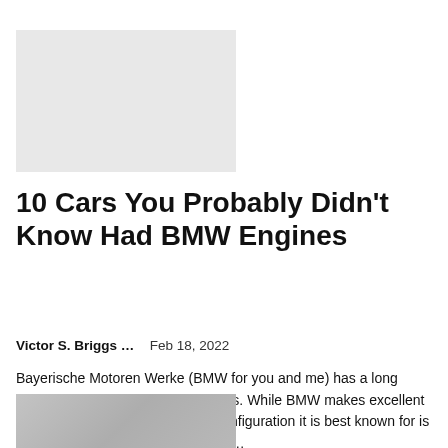[Figure (photo): Gray placeholder image rectangle at the top of the page]
10 Cars You Probably Didn't Know Had BMW Engines
Victor S. Briggs ...   Feb 18, 2022
Bayerische Motoren Werke (BMW for you and me) has a long history of producing brilliant engines. While BMW makes excellent V8s and 4 cylinders, the engine configuration it is best known for is the straight 6. After all, the first two…
[Figure (photo): Partial bottom image showing a car with a roof rack, partially cropped]